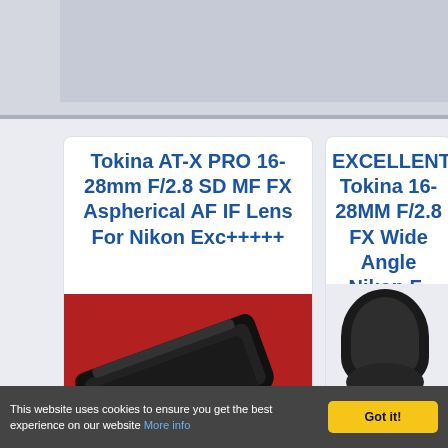[Figure (other): Gray top banner area of a website]
Tokina AT-X PRO 16-28mm F/2.8 SD MF FX Aspherical AF IF Lens For Nikon Exc+++++
[Figure (photo): Photo of a Tokina 16-28mm lens on a red background]
EXCELLENT Tokina 16-28MM F/2.8 FX Wide Angle Nikon F-Mount Lens
[Figure (photo): Photo of a Tokina 16-28mm lens with cap on light background]
This website uses cookies to ensure you get the best experience on our website More info
Got it!